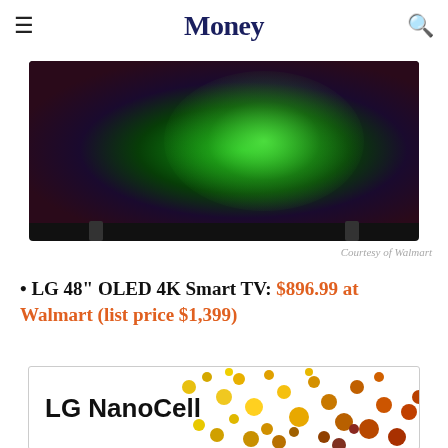Money
[Figure (photo): LG 48 inch OLED 4K Smart TV showing a glowing green tree on a dark background, displayed on a black TV with stand legs]
Courtesy of Walmart
LG 48” OLED 4K Smart TV: $896.99 at Walmart (list price $1,399)
[Figure (photo): LG NanoCell TV showing yellow and orange particles/dots on a white background]